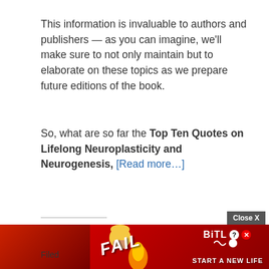This information is invaluable to authors and publishers — as you can imagine, we'll make sure to not only maintain but to elaborate on these topics as we prepare future editions of the book.
So, what are so far the Top Ten Quotes on Lifelong Neuroplasticity and Neurogenesis, [Read more…]
Share this:
Tweet  Share  Email  Print  More
Filed
[Figure (screenshot): BitLife advertisement banner with FAIL text and 'Start a New Life' tagline over a red background with fire and cartoon character]